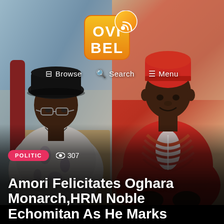[Figure (photo): Two-photo composite: left side shows a man in a black hat and patterned shirt seated at a desk; right side shows a man in red traditional Nigerian royal attire with red beads]
[Figure (logo): OVI BEL logo - orange/yellow square with OVI text on top, BEL text on bottom, orange wifi/RSS icon in top right corner]
Browse   Search   Menu
POLITIC   307
Amori Felicitates Oghara Monarch,HRM Noble Echomitan As He Marks